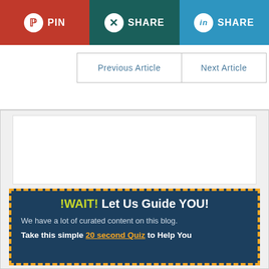[Figure (screenshot): Social share buttons: Pinterest PIN (red), Xing SHARE (dark teal), LinkedIn SHARE (blue)]
| Previous Article | Next Article |
[Figure (screenshot): White advertisement placeholder area]
!WAIT! Let Us Guide YOU!
We have a lot of curated content on this blog.
Take this simple 20 second Quiz to Help You